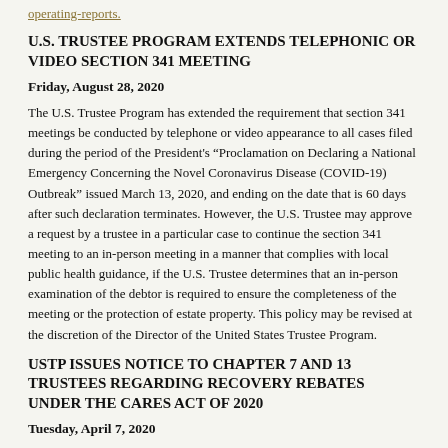operating-reports.
U.S. TRUSTEE PROGRAM EXTENDS TELEPHONIC OR VIDEO SECTION 341 MEETING
Friday, August 28, 2020
The U.S. Trustee Program has extended the requirement that section 341 meetings be conducted by telephone or video appearance to all cases filed during the period of the President's “Proclamation on Declaring a National Emergency Concerning the Novel Coronavirus Disease (COVID-19) Outbreak” issued March 13, 2020, and ending on the date that is 60 days after such declaration terminates. However, the U.S. Trustee may approve a request by a trustee in a particular case to continue the section 341 meeting to an in-person meeting in a manner that complies with local public health guidance, if the U.S. Trustee determines that an in-person examination of the debtor is required to ensure the completeness of the meeting or the protection of estate property. This policy may be revised at the discretion of the Director of the United States Trustee Program.
USTP ISSUES NOTICE TO CHAPTER 7 AND 13 TRUSTEES REGARDING RECOVERY REBATES UNDER THE CARES ACT OF 2020
Tuesday, April 7, 2020